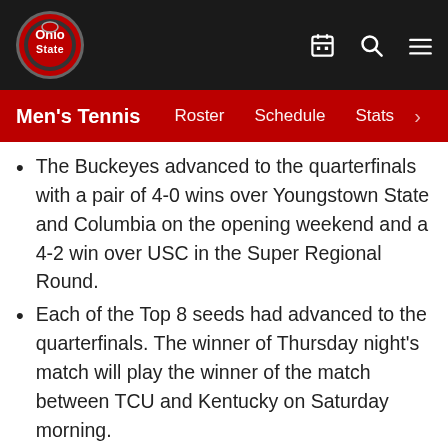[Figure (logo): Ohio State Buckeyes athletic logo — circular red and grey shield with 'Ohio State' text]
Men's Tennis  Roster  Schedule  Stats
The Buckeyes advanced to the quarterfinals with a pair of 4-0 wins over Youngstown State and Columbia on the opening weekend and a 4-2 win over USC in the Super Regional Round.
Each of the Top 8 seeds had advanced to the quarterfinals. The winner of Thursday night's match will play the winner of the match between TCU and Kentucky on Saturday morning.
Six Buckeyes will also be competing in the singles and doubles championships next week. Cannon Kingsley and Matej Vocel are both a Top 16 seed in the singles tournament and both have earned All-America honors. They will be joined in the singles bracket by JJ Tracy and James